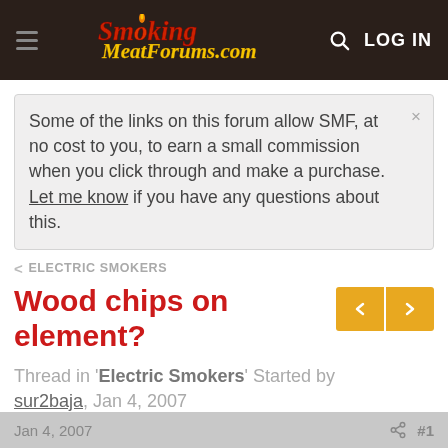SmokingMeatForums.com — LOG IN
Some of the links on this forum allow SMF, at no cost to you, to earn a small commission when you click through and make a purchase. Let me know if you have any questions about this.
ELECTRIC SMOKERS
Wood chips on element?
Thread in 'Electric Smokers' Started by sur2baja, Jan 4, 2007
Jan 4, 2007   #1